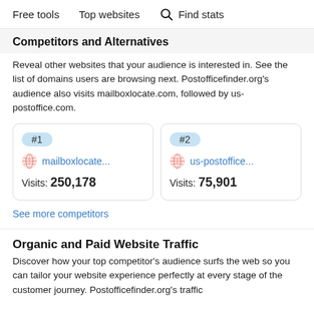Free tools   Top websites   Find stats
Competitors and Alternatives
Reveal other websites that your audience is interested in. See the list of domains users are browsing next. Postofficefinder.org's audience also visits mailboxlocate.com, followed by us-postoffice.com.
#1  mailboxlocate...  Visits: 250,178
#2  us-postoffice...  Visits: 75,901
See more competitors
Organic and Paid Website Traffic
Discover how your top competitor's audience surfs the web so you can tailor your website experience perfectly at every stage of the customer journey. Postofficefinder.org's traffic